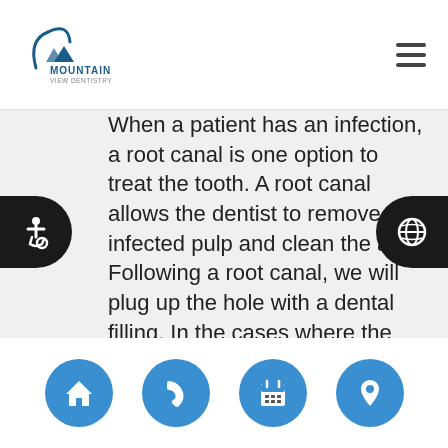Mountain View Dentistry
When a patient has an infection, a root canal is one option to treat the tooth. A root canal allows the dentist to remove the infected pulp and clean the area. Following a root canal, we will plug up the hole with a dental filling. In the cases where the tooth is removed due to infection, we may recommend a dental implant. The dental implant is a titanium post that bonds with the jaw bone through osseointegration. We will also place a dental crown on top of the implant to create a sturdy and natural-looking tooth.
Navigation icons: home, phone, calendar, location